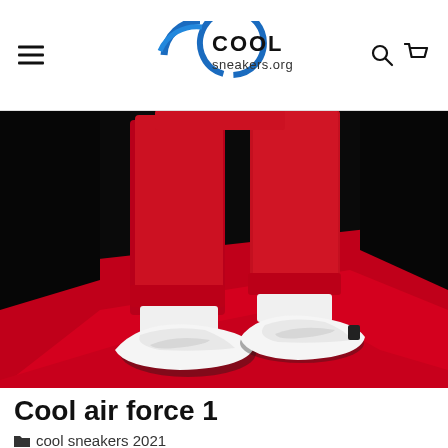COOL sneakers.org
[Figure (photo): Person wearing white Nike Air Force 1 sneakers with red outfit on a red floor against a dark background]
Cool air force 1
cool sneakers 2021